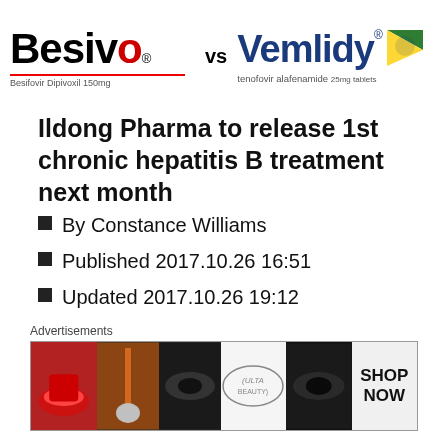[Figure (logo): Besivo (Besifovir Dipivoxil 150mg) vs Vemlidy (tenofovir alafenamide 25mg tablets) drug comparison logos]
Ildong Pharma to release 1st chronic hepatitis B treatment next month
By Constance Williams
Published 2017.10.26 16:51
Updated 2017.10.26 19:12
Ildong Pharmaceutical will release its first chronic hepatitis B therapy of nucleotide series “Besivo” as an insurance benefit drug next month, the company said Thursday.
[Figure (illustration): Advertisements banner showing beauty/cosmetics Ulta ad with 'SHOP NOW' call to action]